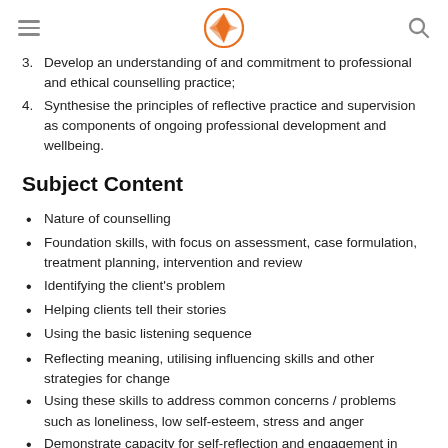[hamburger menu] [logo] [search icon]
3. Develop an understanding of and commitment to professional and ethical counselling practice;
4. Synthesise the principles of reflective practice and supervision as components of ongoing professional development and wellbeing.
Subject Content
Nature of counselling
Foundation skills, with focus on assessment, case formulation, treatment planning, intervention and review
Identifying the client's problem
Helping clients tell their stories
Using the basic listening sequence
Reflecting meaning, utilising influencing skills and other strategies for change
Using these skills to address common concerns / problems such as loneliness, low self-esteem, stress and anger
Demonstrate capacity for self-reflection and engagement in professional supervision
Professional and ethical practice, including note taking, file...